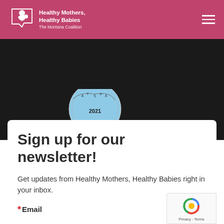Healthy Mothers, Healthy Babies - The Montana Coalition
[Figure (logo): Circular badge/seal with text and 2021 at bottom, partially visible]
Sign up for our newsletter!
Get updates from Healthy Mothers, Healthy Babies right in your inbox.
* Email
[Figure (other): reCAPTCHA widget showing Privacy - Terms]